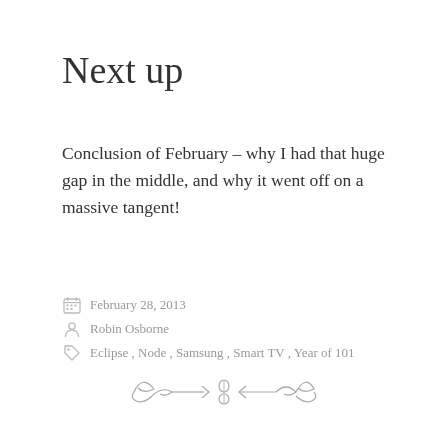Next up
Conclusion of February – why I had that huge gap in the middle, and why it went off on a massive tangent!
February 28, 2013
Robin Osborne
Eclipse, Node, Samsung, Smart TV, Year of 101
[Figure (illustration): Decorative ornamental divider with swirling flourish and arrow motif]